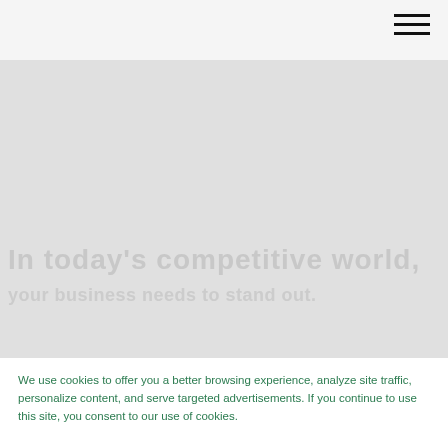[Figure (screenshot): Navigation bar with hamburger menu icon in the top right corner on a light gray background]
[Figure (photo): Large light gray hero/banner area with faint watermark-style text overlay showing two lines of text]
We use cookies to offer you a better browsing experience, analyze site traffic, personalize content, and serve targeted advertisements. If you continue to use this site, you consent to our use of cookies.